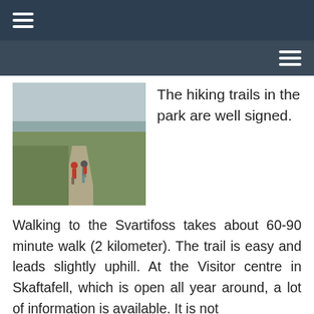≡ (menu icon top left) and ≡ (menu icon top right)
[Figure (photo): Two hikers walking along a gravel path through green grassland with a coastal view in the background under an overcast sky.]
The hiking trails in the park are well signed.
Walking to the Svartifoss takes about 60-90 minute walk (2 kilometer). The trail is easy and leads slightly uphill. At the Visitor centre in Skaftafell, which is open all year around, a lot of information is available. It is not